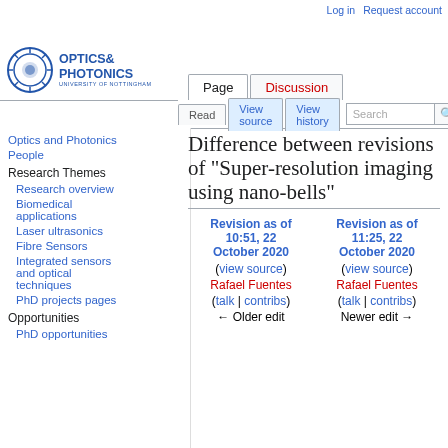Log in  Request account
[Figure (logo): Optics & Photonics, University of Nottingham logo with circular gear-like emblem]
Page  Discussion  Read  View source  View history  Search
Difference between revisions of "Super-resolution imaging using nano-bells"
Optics and Photonics
People
Research Themes
Research overview
Biomedical applications
Laser ultrasonics
Fibre Sensors
Integrated sensors and optical techniques
PhD projects pages
Opportunities
PhD opportunities
| Revision as of 10:51, 22 October 2020 | Revision as of 11:25, 22 October 2020 |
| --- | --- |
| (view source) | (view source) |
| Rafael Fuentes | Rafael Fuentes |
| (talk | contribs) | (talk | contribs) |
| ← Older edit | Newer edit → |